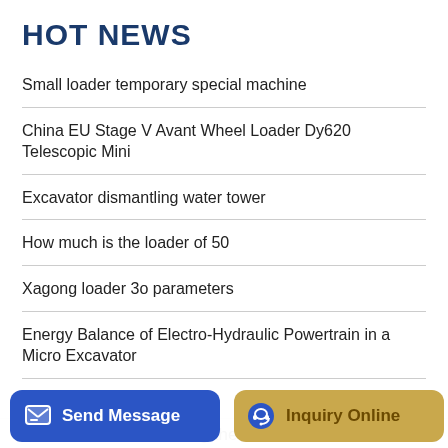HOT NEWS
Small loader temporary special machine
China EU Stage V Avant Wheel Loader Dy620 Telescopic Mini
Excavator dismantling water tower
How much is the loader of 50
Xagong loader 3o parameters
Energy Balance of Electro-Hydraulic Powertrain in a Micro Excavator
Digger Bed Wayfair
Excavator - Resurrecting the embers of truth